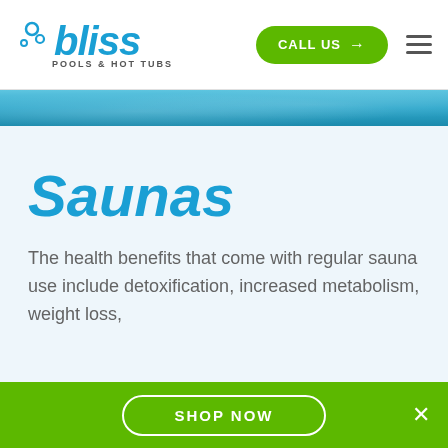[Figure (logo): Bliss Pools & Hot Tubs logo with blue bubble graphic and stylized italic text]
CALL US →
[Figure (illustration): Hamburger menu icon (three horizontal lines)]
[Figure (photo): Blue water/pool background banner image]
Saunas
The health benefits that come with regular sauna use include detoxification, increased metabolism, weight loss,
SHOP NOW
×